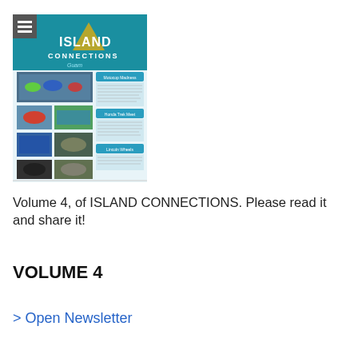[Figure (screenshot): Thumbnail of Island Connections Guam newsletter cover, Volume 4, showing car racing and off-road vehicle photos with a teal and blue header logo.]
Volume 4, of ISLAND CONNECTIONS. Please read it and share it!
VOLUME 4
> Open Newsletter